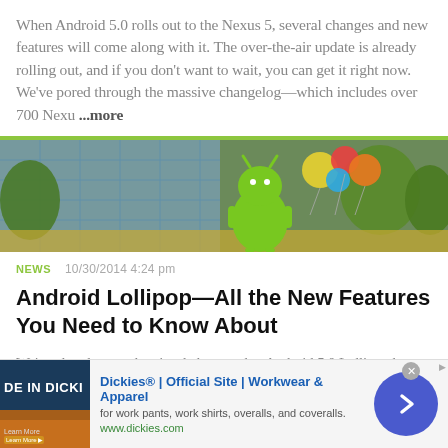When Android 5.0 rolls out to the Nexus 5, several changes and new features will come along with it. The over-the-air update is already rolling out, and if you don't want to wait, you can get it right now. We've pored through the massive changelog—which includes over 700 Nexu ...more
[Figure (photo): Outdoor photo showing Android mascot (green robot) statue in front of a Google building with colorful balloons, trees visible in background]
NEWS   10/30/2014 4:24 pm
Android Lollipop—All the New Features You Need to Know About
We've already seen the visual changes that Android 5.0 Lollipop has brought to the table, but Google spent just as much time altering things under the hood. Awesome new functionalities and broader accessibility have been added…
[Figure (screenshot): Advertisement banner for Dickies workwear showing 'Dickies® | Official Site | Workwear & Apparel' with thumbnail image and arrow button]